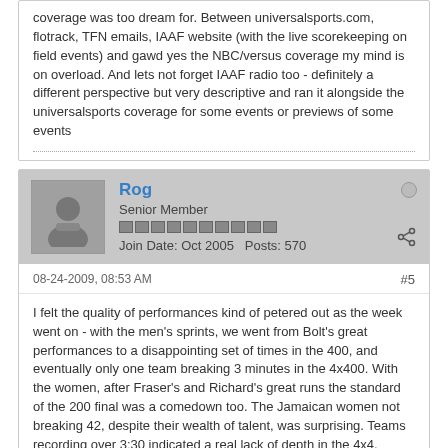coverage was too dream for. Between universalsports.com, flotrack, TFN emails, IAAF website (with the live scorekeeping on field events) and gawd yes the NBC/versus coverage my mind is on overload. And lets not forget IAAF radio too - definitely a different perspective but very descriptive and ran it alongside the universalsports coverage for some events or previews of some events
Rog
Senior Member
Join Date: Oct 2005   Posts: 570
08-24-2009, 08:53 AM
#5
I felt the quality of performances kind of petered out as the week went on - with the men's sprints, we went from Bolt's great performances to a disappointing set of times in the 400, and eventually only one team breaking 3 minutes in the 4x400. With the women, after Fraser's and Richard's great runs the standard of the 200 final was a comedown too. The Jamaican women not breaking 42, despite their wealth of talent, was surprising. Teams recording over 3:30 indicated a real lack of depth in the 4x4.
There wasn't a single really fast distance race, and watching athletes who are used to pacemaker-led races jogging around until close to the